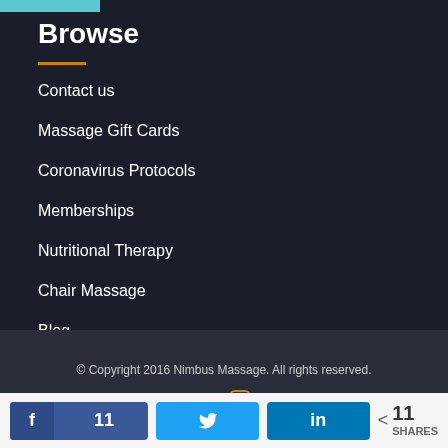[Figure (photo): Partial image strip at top left, teal/blue color]
Browse
Contact us
Massage Gift Cards
Coronavirus Protocols
Memberships
Nutritional Therapy
Chair Massage
Blog
© Copyright 2016 Nimbus Massage. All rights reserved.
11  11 SHARES